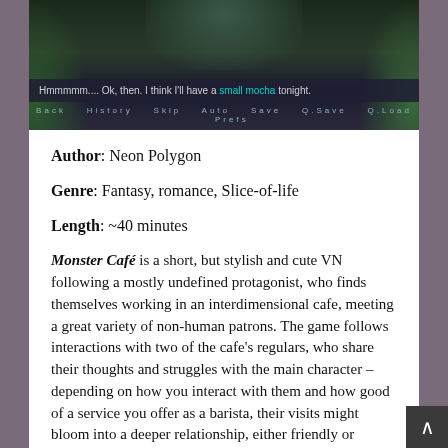[Figure (screenshot): Screenshot of a visual novel game showing a dark atmospheric scene with the dialogue: 'Hmmmmm.... Ok, then. I think I'll have a small mocha tonight.' with 'small mocha' highlighted in teal. A menu bar at the bottom shows navigation options.]
Author: Neon Polygon
Genre: Fantasy, romance, Slice-of-life
Length: ~40 minutes
Monster Café is a short, but stylish and cute VN following a mostly undefined protagonist, who finds themselves working in an interdimensional cafe, meeting a great variety of non-human patrons. The game follows interactions with two of the cafe's regulars, who share their thoughts and struggles with the main character – depending on how you interact with them and how good of a service you offer as a barista, their visits might bloom into a deeper relationship, either friendly or romantic in natur